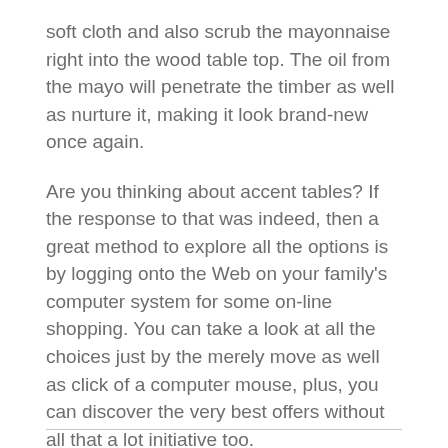soft cloth and also scrub the mayonnaise right into the wood table top. The oil from the mayo will penetrate the timber as well as nurture it, making it look brand-new once again.
Are you thinking about accent tables? If the response to that was indeed, then a great method to explore all the options is by logging onto the Web on your family's computer system for some on-line shopping. You can take a look at all the choices just by the merely move as well as click of a computer mouse, plus, you can discover the very best offers without all that a lot initiative too.